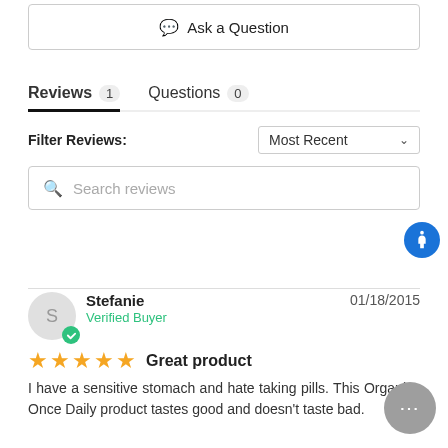Ask a Question
Reviews 1   Questions 0
Filter Reviews:
Search reviews
Stefanie   01/18/2015   Verified Buyer
★★★★★  Great product
I have a sensitive stomach and hate taking pills. This Organics Once Daily product tastes good and doesn't taste bad.